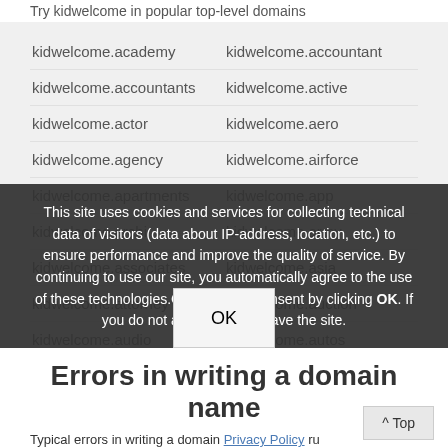Try kidwelcome in popular top-level domains
kidwelcome.academy
kidwelcome.accountant
kidwelcome.accountants
kidwelcome.active
kidwelcome.actor
kidwelcome.aero
kidwelcome.agency
kidwelcome.airforce
kidwelcome.apartments
kidwelcome.app
kidwelcome.archi
kidwelcome.army
kidwelcome.associates
kidwelcome.asia
kidwelcome.attorney
kidwelcome.auction
kidwelcome.audio
kidwelcome.autos
kidwelcome.biz
kidwelcome.cat
This site uses cookies and services for collecting technical data of visitors (data about IP-address, location, etc.) to ensure performance and improve the quality of service. By continuing to use our site, you automatically agree to the use of these technologies.Confirm your consent by clicking OK. If you do not agree, please leave the site.
OK
Errors in writing a domain name
Typical errors in writing a domain Privacy Policy ru